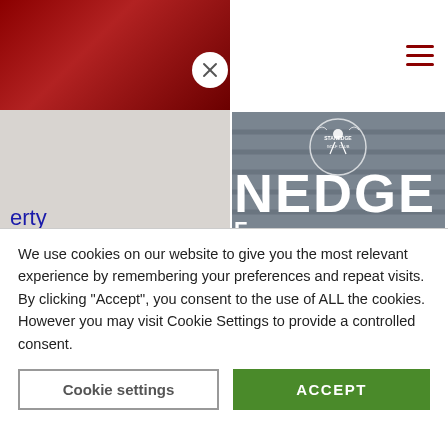[Figure (screenshot): Website screenshot showing a navigation overlay on the left with dark red header and grey background with partially visible blue navigation links ('erty', 'eld', 's'), and on the right a photo of a smiling woman in a navy polo shirt sitting in front of a grey wall with white letters spelling 'NEDGE CLUB' (part of Stanedge Golf Club sign), with a golf club logo badge at top. Below the photo is the caption 'Director of Virtual World'.]
We use cookies on our website to give you the most relevant experience by remembering your preferences and repeat visits. By clicking “Accept”, you consent to the use of ALL the cookies. However you may visit Cookie Settings to provide a controlled consent.
Cookie settings
ACCEPT